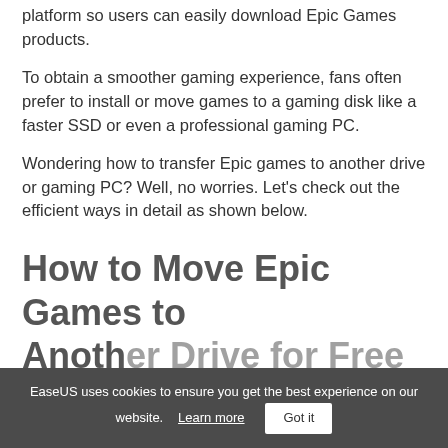platform so users can easily download Epic Games products.
To obtain a smoother gaming experience, fans often prefer to install or move games to a gaming disk like a faster SSD or even a professional gaming PC.
Wondering how to transfer Epic games to another drive or gaming PC? Well, no worries. Let's check out the efficient ways in detail as shown below.
How to Move Epic Games to Another Drive for Free
EaseUS uses cookies to ensure you get the best experience on our website.   Learn more   Got it